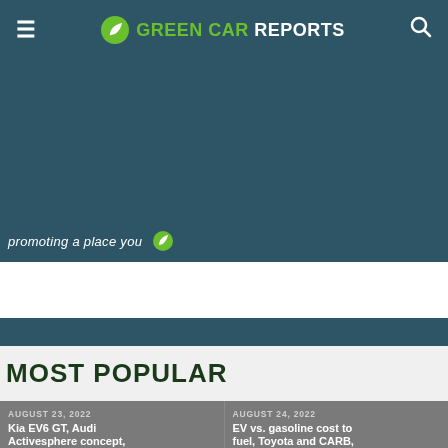Green Car Reports
[Figure (screenshot): Partially visible promotional gallery image with text 'promoting a place you...' in teal background]
VIEW ALL GALLERIES
MOST POPULAR
AUGUST 23, 2022
Kia EV6 GT, Audi Activesphere concept,
AUGUST 24, 2022
EV vs. gasoline cost to fuel, Toyota and CARB,